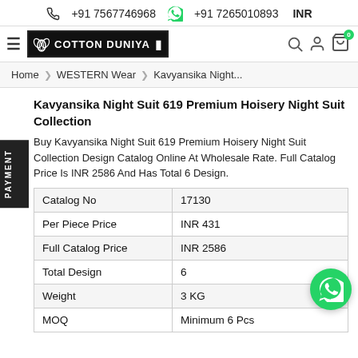+91 7567746968   +91 7265010893   INR
[Figure (logo): Cotton Duniya logo with lotus flower icon on dark background]
Home > WESTERN Wear > Kavyansika Night...
Kavyansika Night Suit 619 Premium Hoisery Night Suit Collection
Buy Kavyansika Night Suit 619 Premium Hoisery Night Suit Collection Design Catalog Online At Wholesale Rate. Full Catalog Price Is INR 2586 And Has Total 6 Design.
| Catalog No | 17130 |
| Per Piece Price | INR 431 |
| Full Catalog Price | INR 2586 |
| Total Design | 6 |
| Weight | 3 KG |
| MOQ | Minimum 6 Pcs |